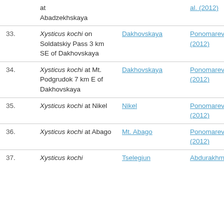| # | Species/Location | Locality | Reference |
| --- | --- | --- | --- |
|  | at Abadzekhskaya |  | al. (2012) |
| 33. | Xysticus kochi on Soldatskiy Pass 3 km SE of Dakhovskaya | Dakhovskaya | Ponomarev et al. (2012) |
| 34. | Xysticus kochi at Mt. Podgrudok 7 km E of Dakhovskaya | Dakhovskaya | Ponomarev et al. (2012) |
| 35. | Xysticus kochi at Nikel | Nikel | Ponomarev et al. (2012) |
| 36. | Xysticus kochi at Abago | Mt. Abago | Ponomarev et al. (2012) |
| 37. | Xysticus kochi | Tselegiun | Abdurakhmanov |